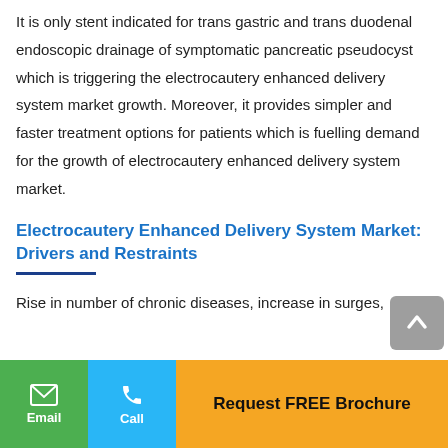It is only stent indicated for trans gastric and trans duodenal endoscopic drainage of symptomatic pancreatic pseudocyst which is triggering the electrocautery enhanced delivery system market growth. Moreover, it provides simpler and faster treatment options for patients which is fuelling demand for the growth of electrocautery enhanced delivery system market.
Electrocautery Enhanced Delivery System Market: Drivers and Restraints
Rise in number of chronic diseases, increase in sur...
Email | Call | Request FREE Brochure